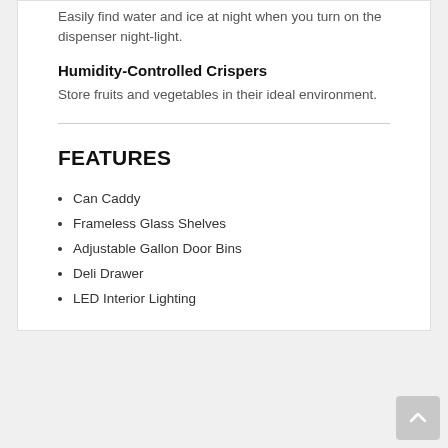Easily find water and ice at night when you turn on the dispenser night-light.
Humidity-Controlled Crispers
Store fruits and vegetables in their ideal environment.
FEATURES
Can Caddy
Frameless Glass Shelves
Adjustable Gallon Door Bins
Deli Drawer
LED Interior Lighting